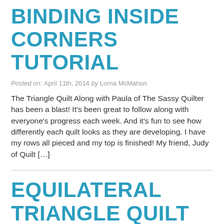BINDING INSIDE CORNERS TUTORIAL
Posted on: April 11th, 2014 by Lorna McMahon
The Triangle Quilt Along with Paula of The Sassy Quilter has been a blast! It's been great to follow along with everyone's progress each week. And it's fun to see how differently each quilt looks as they are developing. I have my rows all pieced and my top is finished! My friend, Judy of Quilt […]
EQUILATERAL TRIANGLE QUILT